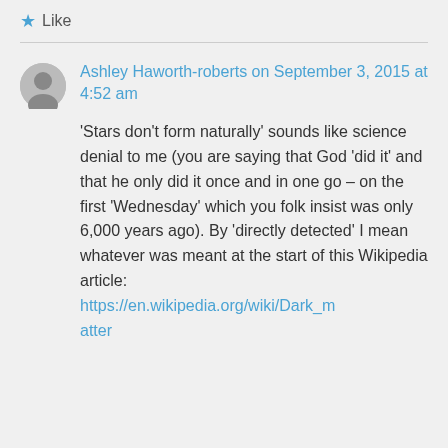★ Like
Ashley Haworth-roberts on September 3, 2015 at 4:52 am
'Stars don't form naturally' sounds like science denial to me (you are saying that God 'did it' and that he only did it once and in one go – on the first 'Wednesday' which you folk insist was only 6,000 years ago). By 'directly detected' I mean whatever was meant at the start of this Wikipedia article: https://en.wikipedia.org/wiki/Dark_matter